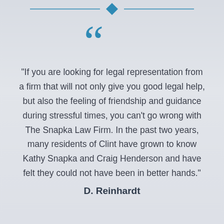[Figure (illustration): Blue diamond and horizontal lines decoration at top, with large blue open-quote marks below]
"If you are looking for legal representation from a firm that will not only give you good legal help, but also the feeling of friendship and guidance during stressful times, you can’t go wrong with The Snapka Law Firm. In the past two years, many residents of Clint have grown to know Kathy Snapka and Craig Henderson and have felt they could not have been in better hands."
D. Reinhardt